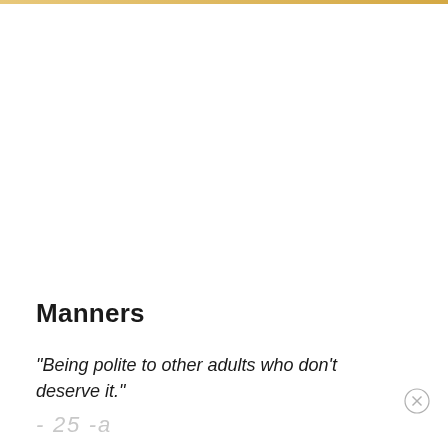Manners
"Being polite to other adults who don't deserve it."
- 25 -a